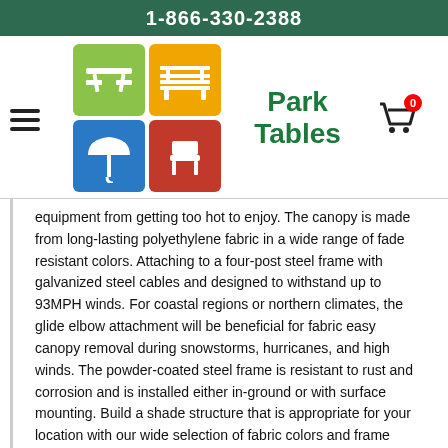1-866-330-2388
[Figure (logo): Park Tables website logo with four colored icon tiles (picnic table, bench, umbrella, chair) arranged in a 2x2 grid, with brand name 'Park Tables' in green text]
equipment from getting too hot to enjoy. The canopy is made from long-lasting polyethylene fabric in a wide range of fade resistant colors. Attaching to a four-post steel frame with galvanized steel cables and designed to withstand up to 93MPH winds. For coastal regions or northern climates, the glide elbow attachment will be beneficial for fabric easy canopy removal during snowstorms, hurricanes, and high winds. The powder-coated steel frame is resistant to rust and corrosion and is installed either in-ground or with surface mounting. Build a shade structure that is appropriate for your location with our wide selection of fabric colors and frame finishes.